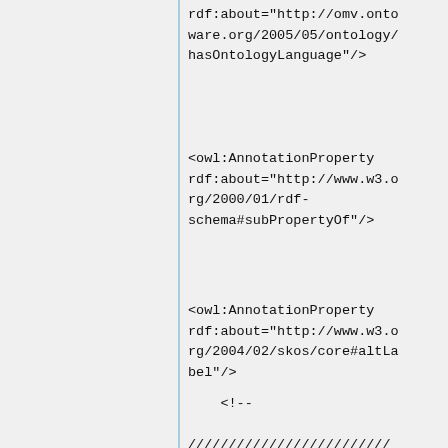rdf:about="http://omv.ontoware.org/2005/05/ontology/hasOntologyLanguage"/>
<owl:AnnotationProperty rdf:about="http://www.w3.org/2000/01/rdf-schema#subPropertyOf"/>
<owl:AnnotationProperty rdf:about="http://www.w3.org/2004/02/skos/core#altLabel"/>
<!--

/////////////////////////////////////////
    //
    // Classes
    //